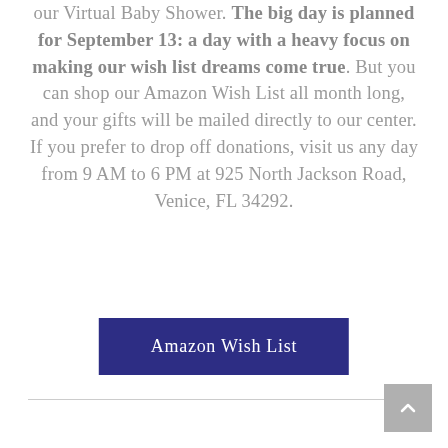our Virtual Baby Shower. The big day is planned for September 13: a day with a heavy focus on making our wish list dreams come true. But you can shop our Amazon Wish List all month long, and your gifts will be mailed directly to our center. If you prefer to drop off donations, visit us any day from 9 AM to 6 PM at 925 North Jackson Road, Venice, FL 34292.
[Figure (other): Dark navy blue button labeled 'Amazon Wish List']
[Figure (other): Horizontal divider line with a scroll-to-top button in the bottom right corner]